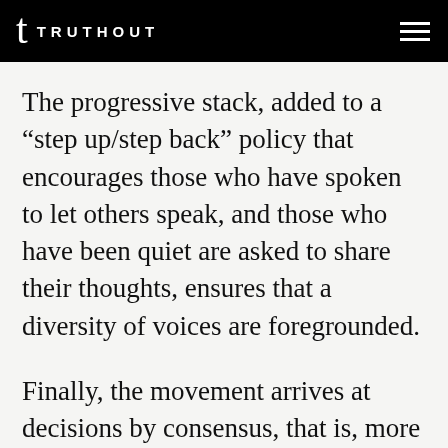TRUTHOUT
The progressive stack, added to a “step up/step back” policy that encourages those who have spoken to let others speak, and those who have been quiet are asked to share their thoughts, ensures that a diversity of voices are foregrounded.
Finally, the movement arrives at decisions by consensus, that is, more than 90 percent agreement in the group.
This highly-structured, fine-tuned process